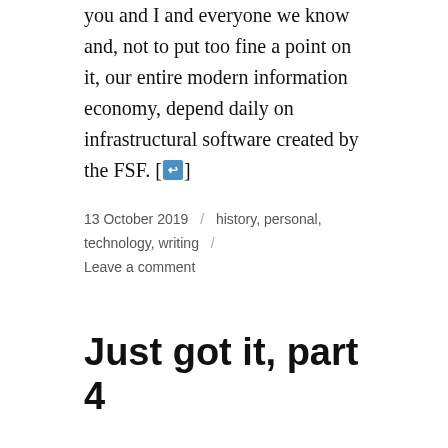you and I and everyone we know and, not to put too fine a point on it, our entire modern information economy, depend daily on infrastructural software created by the FSF. [↩]
13 October 2019 / history, personal, technology, writing / Leave a comment
Just got it, part 4
I saw Dead Men Don't Wear Plaid when it came out in 1982. In it, Steve Martin, as a 1940's-era film noir private eye, is cleverly intercut with scenes from actual film noir